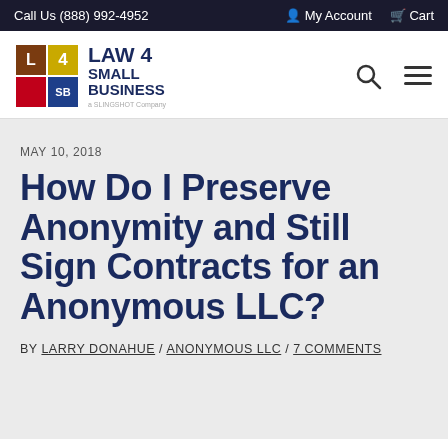Call Us (888) 992-4952 | My Account | Cart
[Figure (logo): Law 4 Small Business logo with colored grid squares and text]
MAY 10, 2018
How Do I Preserve Anonymity and Still Sign Contracts for an Anonymous LLC?
BY LARRY DONAHUE / ANONYMOUS LLC / 7 COMMENTS